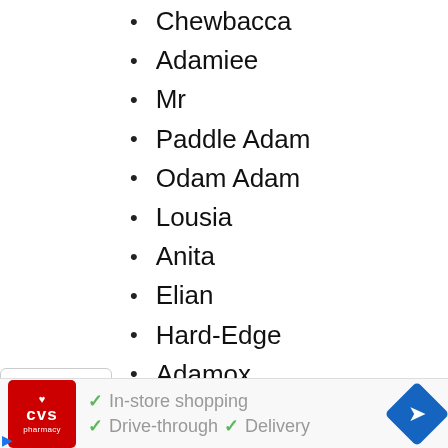Chewbacca
Adamiee
Mr
Paddle Adam
Odam Adam
Lousia
Anita
Elian
Hard-Edge
Adamox
Dog Fish
Adem
Get Adam
Add-Ham
[Figure (screenshot): CVS Pharmacy advertisement banner showing In-store shopping, Drive-through, and Delivery options with checkmarks, plus a navigation arrow icon.]